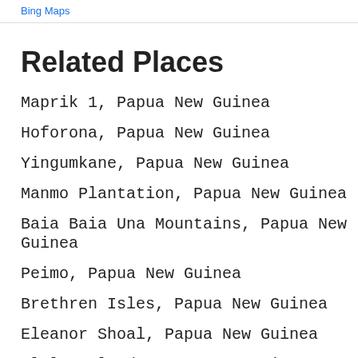Bing Maps
Related Places
Maprik 1, Papua New Guinea
Hoforona, Papua New Guinea
Yingumkane, Papua New Guinea
Manmo Plantation, Papua New Guinea
Baia Baia Una Mountains, Papua New Guinea
Peimo, Papua New Guinea
Brethren Isles, Papua New Guinea
Eleanor Shoal, Papua New Guinea
Alele Island, Papua New Guinea